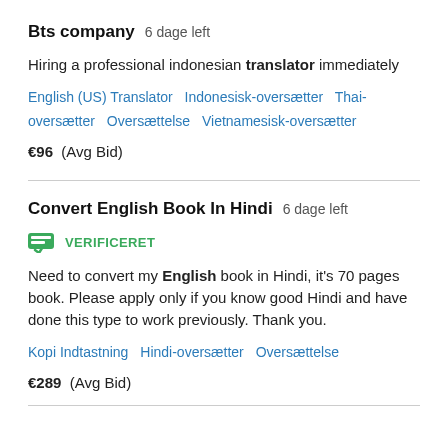Bts company  6 dage left
Hiring a professional indonesian translator immediately
English (US) Translator   Indonesisk-oversætter   Thai-oversætter   Oversættelse   Vietnamesisk-oversætter
€96  (Avg Bid)
Convert English Book In Hindi  6 dage left
VERIFICERET
Need to convert my English book in Hindi, it's 70 pages book. Please apply only if you know good Hindi and have done this type to work previously. Thank you.
Kopi Indtastning   Hindi-oversætter   Oversættelse
€289  (Avg Bid)